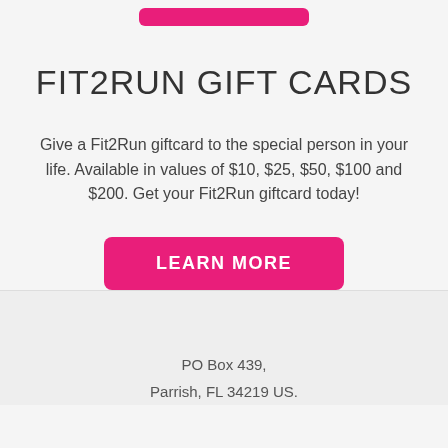[Figure (other): Pink/magenta rounded rectangle button at top (partial, cropped)]
FIT2RUN GIFT CARDS
Give a Fit2Run giftcard to the special person in your life. Available in values of $10, $25, $50, $100 and $200. Get your Fit2Run giftcard today!
[Figure (other): LEARN MORE button — pink/magenta rounded rectangle with white uppercase text]
PO Box 439, Parrish, FL 34219 US.